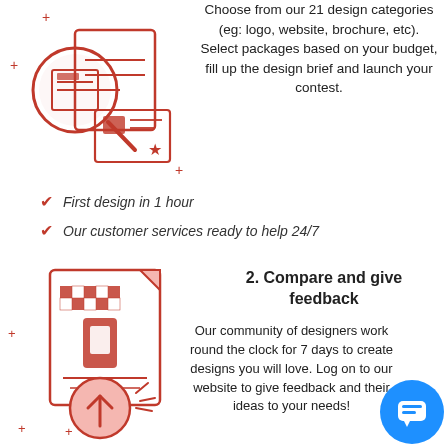[Figure (illustration): Red line-art illustration of a magnifying glass over documents with a star badge, with plus signs scattered around]
Choose from our 21 design categories (eg: logo, website, brochure, etc). Select packages based on your budget, fill up the design brief and launch your contest.
First design in 1 hour
Our customer services ready to help 24/7
[Figure (illustration): Red line-art illustration of a document with checkerboard pattern and an upload circle arrow icon, with plus signs and lines scattered around]
2. Compare and give feedback
Our community of designers work round the clock for 7 days to create designs you will love. Log on to our website to give feedback and their ideas to your needs!